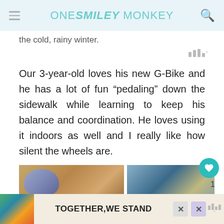ONE SMILEY MONKEY
the cold, rainy winter.
Our 3-year-old loves his new G-Bike and he has a lot of fun “pedaling” down the sidewalk while learning to keep his balance and coordination. He loves using it indoors as well and I really like how silent the wheels are.
[Figure (photo): Two photos of a young child wearing a helmet riding a balance bike indoors]
[Figure (screenshot): Advertisement banner reading TOGETHER WE STAND]